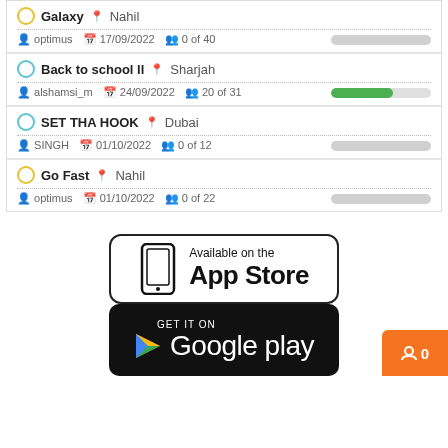Galaxy  Nahil | optimus  17/09/2022  0 of 40
Back to school ll  Sharjah | alshamsi_m  24/09/2022  20 of 31
SET THA HOOK  Dubai | SINGH  01/10/2022  0 of 12
Go Fast  Nahil | optimus  01/10/2022  0 of 22
[Figure (logo): Available on the App Store badge - white background with phone icon and text]
[Figure (logo): GET IT ON Google Play badge - black background with Google Play triangle logo and text]